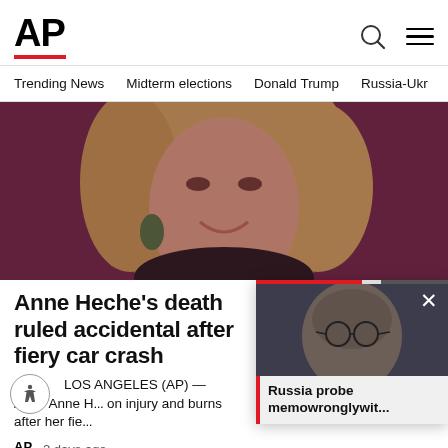[Figure (logo): AP (Associated Press) logo with red underline bar]
Trending News   Midterm elections   Donald Trump   Russia-Ukr
[Figure (photo): Photo of Anne Heche smiling, blonde hair, green earrings, dark background]
Anne Heche's death ruled accidental after fiery car crash
LOS ANGELES (AP) — Actor Anne H... on injury and burns after her fie...
AP  2 days ago
[Figure (photo): Floating card with photo of man with glasses (Bill Barr), close button, and caption: Russia probe memowronglywit...]
[Figure (photo): Bottom thumbnail images row]